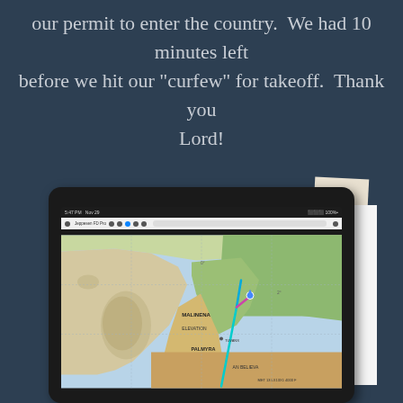our permit to enter the country.  We had 10 minutes left before we hit our "curfew" for takeoff.  Thank you Lord!
[Figure (photo): A tablet device displaying an aviation navigation map app showing a flight path over what appears to be the Middle East / Levant region, with a cyan/teal colored route line and a magenta segment, overlaid on a topographic map. The tablet is resting on paper aviation charts.]